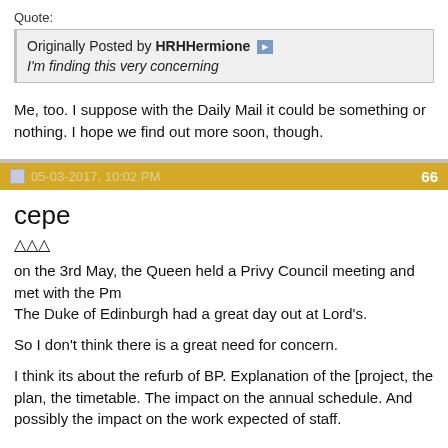Quote:
Originally Posted by HRHHermione
I'm finding this very concerning
Me, too. I suppose with the Daily Mail it could be something or nothing. I hope we find out more soon, though.
05-03-2017, 10:02 PM    66
cepe
△△△
on the 3rd May, the Queen held a Privy Council meeting and met with the Pm
The Duke of Edinburgh had a great day out at Lord's.

So I don't think there is a great need for concern.

I think its about the refurb of BP. Explanation of the [project, the plan, the timetable. The impact on the annual schedule. And possibly the impact on the work expected of staff.